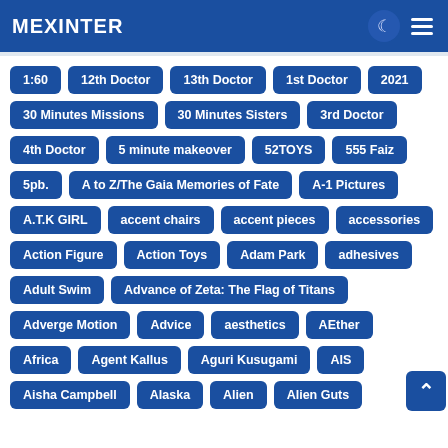MEXINTER
1:60
12th Doctor
13th Doctor
1st Doctor
2021
30 Minutes Missions
30 Minutes Sisters
3rd Doctor
4th Doctor
5 minute makeover
52TOYS
555 Faiz
5pb.
A to Z/The Gaia Memories of Fate
A-1 Pictures
A.T.K GIRL
accent chairs
accent pieces
accessories
Action Figure
Action Toys
Adam Park
adhesives
Adult Swim
Advance of Zeta: The Flag of Titans
Adverge Motion
Advice
aesthetics
AEther
Africa
Agent Kallus
Aguri Kusugami
AIS
Aisha Campbell
Alaska
Alien
Alien Guts